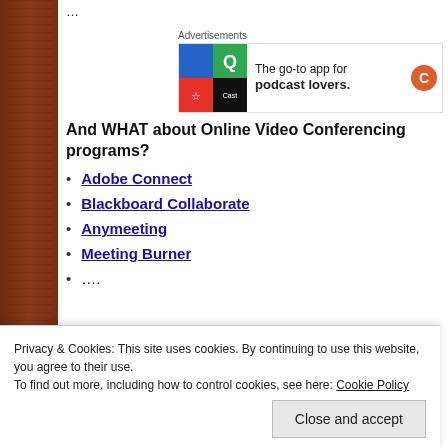…
[Figure (other): Advertisement banner: Quadrant app logo with colored tiles and text 'The go-to app for podcast lovers.']
And WHAT about Online Video Conferencing programs?
Adobe Connect
Blackboard Collaborate
Anymeeting
Meeting Burner
….
Pixar's success isn't an accident. They're successful because [something] makes them so effective.
Privacy & Cookies: This site uses cookies. By continuing to use this website, you agree to their use.
To find out more, including how to control cookies, see here: Cookie Policy